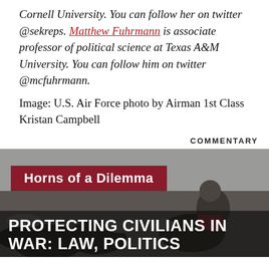Cornell University. You can follow her on twitter @sekreps. Matthew Fuhrmann is associate professor of political science at Texas A&M University. You can follow him on twitter @mcfuhrmann.
Image: U.S. Air Force photo by Airman 1st Class Kristan Campbell
COMMENTARY
[Figure (photo): Photo of civilians, likely in a war zone, with a child visible. Overlaid with a dark red banner reading 'Horns of a Dilemma' and a dark overlay at the bottom with text 'PROTECTING CIVILIANS IN WAR: LAW, POLITICS']
PROTECTING CIVILIANS IN WAR: LAW, POLITICS